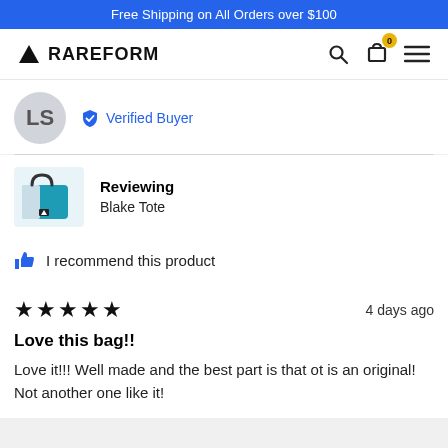Free Shipping on All Orders over $100
[Figure (logo): RAREFORM brand logo with triangle symbol and navigation icons (search, cart with 0 badge, hamburger menu)]
LS — Verified Buyer
Reviewing
Blake Tote
I recommend this product
★★★★★   4 days ago
Love this bag!!
Love it!!! Well made and the best part is that ot is an original! Not another one like it!